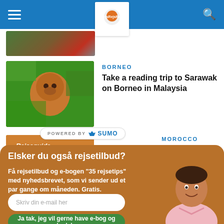RejoRejsRejs navigation header
[Figure (photo): Small thumbnail of a road/train scene with reddish tones]
BORNEO
Take a reading trip to Sarawak on Borneo in Malaysia
[Figure (photo): Orangutan baby in green jungle foliage]
POWERED BY SUMO
MOROCCO
[Figure (photo): Partial thumbnail of Morocco article]
Elsker du også rejsetilbud?
Få rejsetilbud og e-bogen "35 rejsetips" med nyhedsbrevet, som vi sender ud et par gange om måneden. Gratis.
Skriv din e-mail her
Ja tak, jeg vil gerne have e-bog og nyhedsbrev
[Figure (photo): Smiling man in pink shirt, newsletter signup popup]